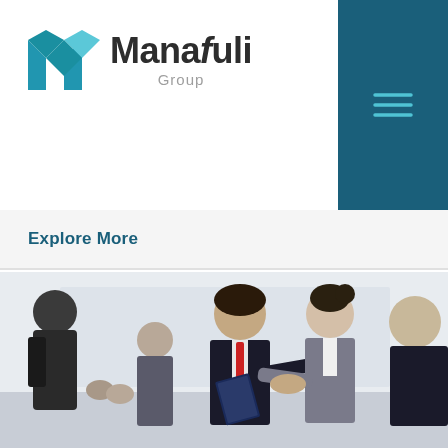[Figure (logo): Manafuli Group logo with teal M icon and dark text]
Explore More
[Figure (photo): Two business professionals shaking hands in a meeting room setting, with other colleagues watching in the background]